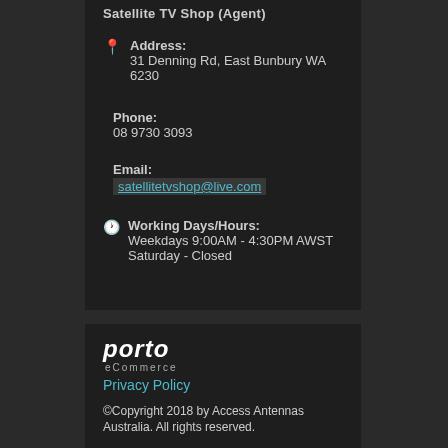Satellite TV Shop (Agent)
Address: 31 Denning Rd, East Bunbury WA 6230
Phone: 08 9730 3093
Email: satellitetvshop@live.com
Working Days/Hours: Weekdays 9:00AM - 4:30PM AWST
Saturday - Closed
[Figure (logo): Porto eCommerce logo in white text on dark background]
Privacy Policy
©Copyright 2018 by Access Antennas Australia. All rights reserved.